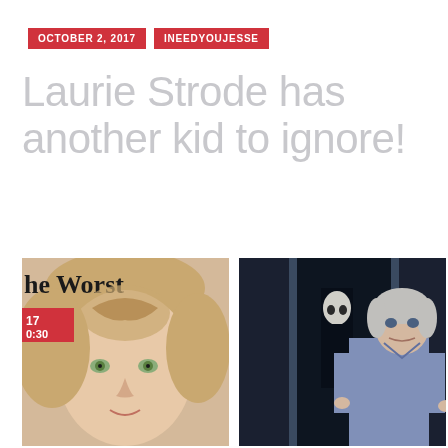OCTOBER 2, 2017   INEEDYOUJESSE
Laurie Strode has another kid to ignore!
[Figure (photo): Blonde woman at a TV event, partial sign reading 'he Worst' and red badge '17 0:30' visible in background]
[Figure (photo): Jamie Lee Curtis as Laurie Strode standing with hands on hips, Michael Myers figure visible in darkened doorway background]